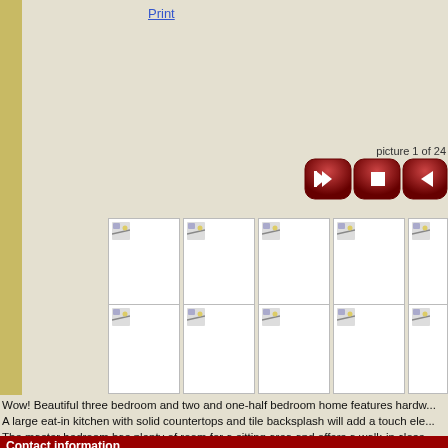Print
picture 1 of 24
[Figure (screenshot): Media player controls: rewind, stop, play buttons (dark red rounded rectangles)]
[Figure (screenshot): Two rows of 5 image thumbnails each showing placeholder photo icons]
Wow! Beautiful three bedroom and two and one-half bedroom home features hardw... A large eat-in kitchen with solid countertops and tile backsplash will add a touch ele... The master bedroom has plenty of room for a sitting area and offers a walk-in close...
Contact information
Name: Any Staff, Phoenix Property Management
Your name:
Email address:
Phone number: